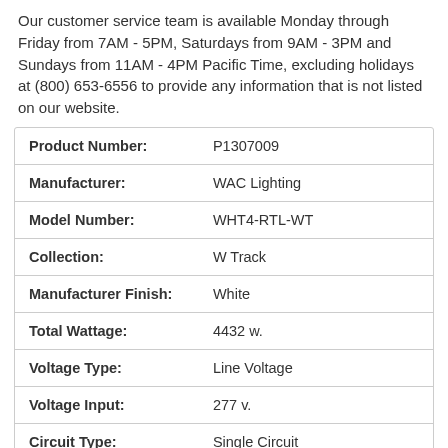Our customer service team is available Monday through Friday from 7AM - 5PM, Saturdays from 9AM - 3PM and Sundays from 11AM - 4PM Pacific Time, excluding holidays at (800) 653-6556 to provide any information that is not listed on our website.
| Product Number: | P1307009 |
| Manufacturer: | WAC Lighting |
| Model Number: | WHT4-RTL-WT |
| Collection: | W Track |
| Manufacturer Finish: | White |
| Total Wattage: | 4432 w. |
| Voltage Type: | Line Voltage |
| Voltage Input: | 277 v. |
| Circuit Type: | Single Circuit |